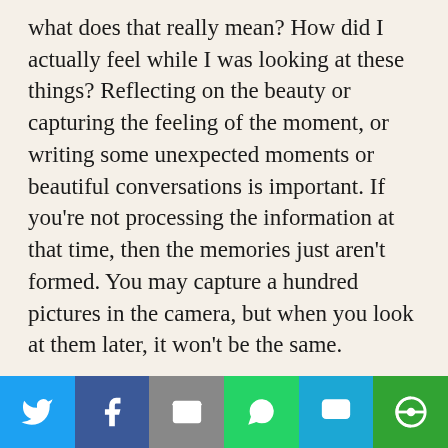what does that really mean? How did I actually feel while I was looking at these things? Reflecting on the beauty or capturing the feeling of the moment, or writing some unexpected moments or beautiful conversations is important. If you're not processing the information at that time, then the memories just aren't formed. You may capture a hundred pictures in the camera, but when you look at them later, it won't be the same.
You can truly transform your travel experiences by taking to the written word instead of the electronic devices. Go ahead and start journaling your travel adventures and tales. Believe me, your older self will be thanking your younger self for...
[Figure (infographic): Social sharing bar with six buttons: Twitter (blue bird icon), Facebook (blue f icon), Email (gray envelope icon), WhatsApp (green phone icon), SMS (blue SMS icon), More (green circular icon)]